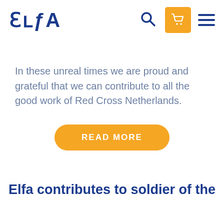ELFA
In these unreal times we are proud and grateful that we can contribute to all the good work of Red Cross Netherlands.
READ MORE
Elfa contributes to soldier of the